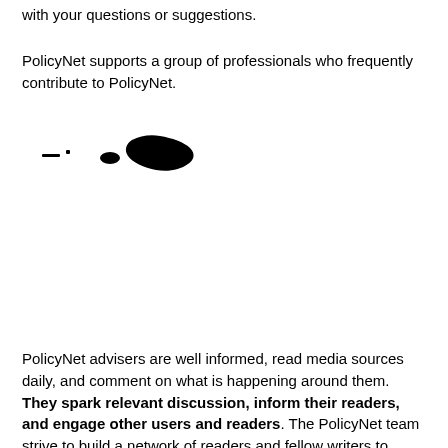with your questions or suggestions.
PolicyNet supports a group of professionals who frequently contribute to PolicyNet.
[Figure (photo): Small partially visible black silhouette image, appears to be a logo or icon on white background]
PolicyNet advisers are well informed, read media sources daily, and comment on what is happening around them. They spark relevant discussion, inform their readers, and engage other users and readers.  The PolicyNet team strive to build a network of readers and fellow writers to enrich the PolicyNet experience.